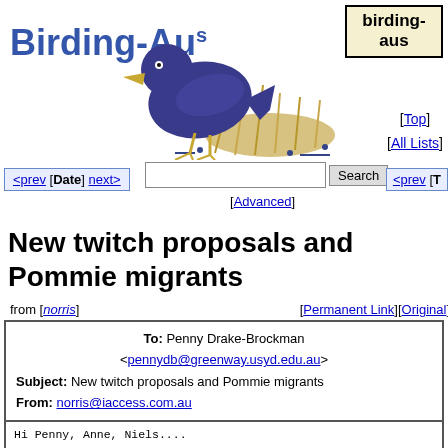[Figure (logo): Birding-Aus logo with blue bird illustration and text]
birding-aus [Top] [All Lists]
[Figure (screenshot): Search box with Search button and navigation: <prev [Date] next> and [Advanced] and <prev [T]
New twitch proposals and Pommie migrants
from [norris]  [Permanent Link][Original]
| To: Penny Drake-Brockman <pennydb@greenway.usyd.edu.au> |
| Subject: New twitch proposals and Pommie migrants |
| From: norris@iaccess.com.au |
| Date: Thu, 03 Dec 1998 14:28:41 +1100 |
Hi Penny, Anne, Niels....

Echoing Penny "Speaking as a pommmie migrant....."  I a and more concerned about the overrepresentation of NW E "protestant" countries and their exports on this mailin ("Protestant countries" goes back to Durkheim's marvel